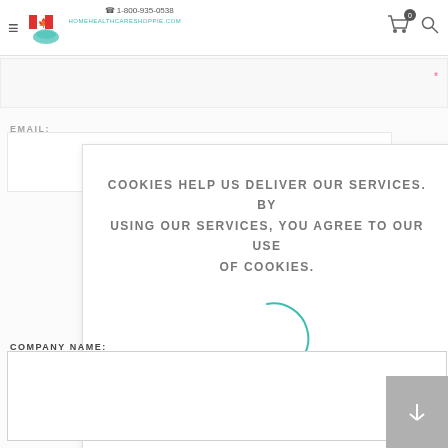homehealthcareshoppie.com | ☎ 1-800-935-0538
EMAIL:
[Figure (other): Cookie consent modal dialog with spinner animation, OK button, and LEARN MORE link. Text reads: COOKIES HELP US DELIVER OUR SERVICES. BY USING OUR SERVICES, YOU AGREE TO OUR USE OF COOKIES.]
COMPANY NAME: